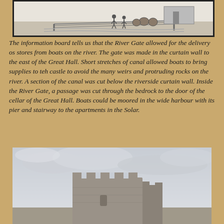[Figure (illustration): Historical sketch/engraving showing figures near boats or a riverside scene, framed with a dark border]
The information board tells us that the River Gate allowed for the delivery os stores from boats on the river. The gate was made in the curtain wall to the east of the Great Hall. Short stretches of canal allowed boats to bring supplies to teh castle to avoid the many weirs and protruding rocks on the river. A section of the canal was cut below the riverside curtain wall. Inside the River Gate, a passage was cut through the bedrock to the door of the cellar of the Great Hall. Boats could be moored in the wide harbour with its pier and stairway to the apartments in the Solar.
[Figure (photo): Photograph of a ruined stone castle tower against a gray cloudy sky]